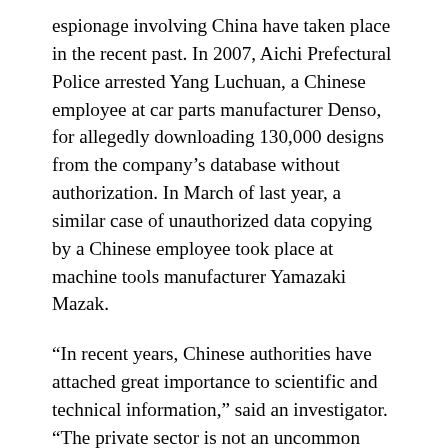espionage involving China have taken place in the recent past. In 2007, Aichi Prefectural Police arrested Yang Luchuan, a Chinese employee at car parts manufacturer Denso, for allegedly downloading 130,000 designs from the company's database without authorization. In March of last year, a similar case of unauthorized data copying by a Chinese employee took place at machine tools manufacturer Yamazaki Mazak.
“In recent years, Chinese authorities have attached great importance to scientific and technical information,” said an investigator. “The private sector is not an uncommon target, and exclusive clubs are considered suitable for information gathering.”
When the Sankei interviewed the manager of the Kyoto club she denied being a spy. “A lot of different customers came to the club, but they never talked about their work,” she said.